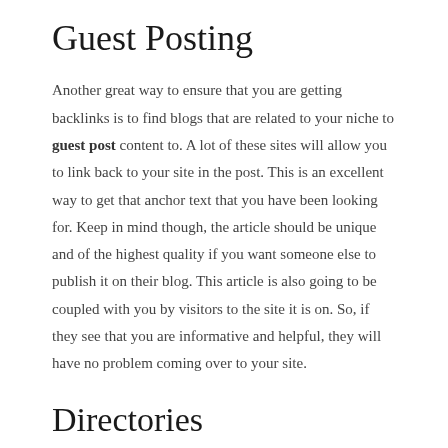Guest Posting
Another great way to ensure that you are getting backlinks is to find blogs that are related to your niche to guest post content to. A lot of these sites will allow you to link back to your site in the post. This is an excellent way to get that anchor text that you have been looking for. Keep in mind though, the article should be unique and of the highest quality if you want someone else to publish it on their blog. This article is also going to be coupled with you by visitors to the site it is on. So, if they see that you are informative and helpful, they will have no problem coming over to your site.
Directories